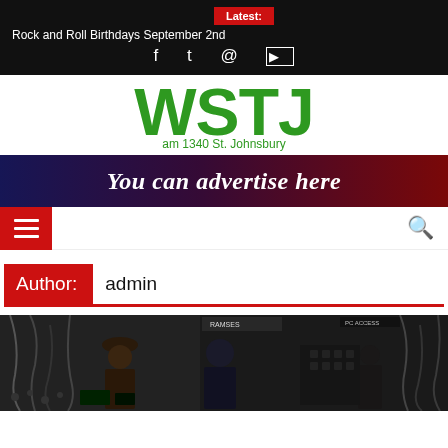Latest: Rock and Roll Birthdays September 2nd
[Figure (logo): WSTJ am 1340 St. Johnsbury radio station logo in green]
[Figure (infographic): Advertisement banner: You can advertise here, dark blue to red gradient background]
[Figure (screenshot): Navigation bar with red hamburger menu button on left and search icon on right]
Author: admin
[Figure (photo): Photo of people in front of audio equipment and electronic gear]